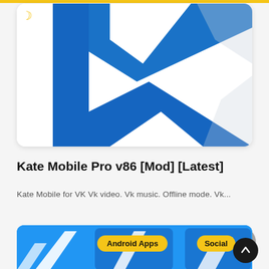[Figure (screenshot): Kate Mobile app logo - large K letter in blue and white on white background, partial view cropped]
Kate Mobile Pro v86 [Mod] [Latest]
Kate Mobile for VK Vk video. Vk music. Offline mode. Vk...
Xenia
1680
Resources
[Figure (screenshot): Second Kate Mobile app listing card showing blue app icon with white arrow shapes, tags: Android Apps, Social]
Android Apps
Social